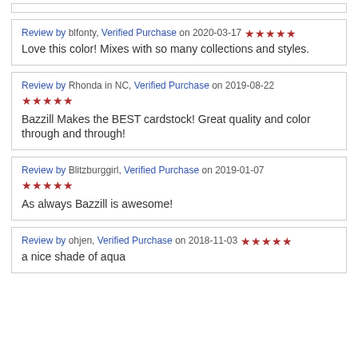Review by blfonty, Verified Purchase on 2020-03-17 ★★★★★
Love this color! Mixes with so many collections and styles.
Review by Rhonda in NC, Verified Purchase on 2019-08-22 ★★★★★
Bazzill Makes the BEST cardstock! Great quality and color through and through!
Review by Blitzburggirl, Verified Purchase on 2019-01-07 ★★★★★
As always Bazzill is awesome!
Review by ohjen, Verified Purchase on 2018-11-03 ★★★★★
a nice shade of aqua